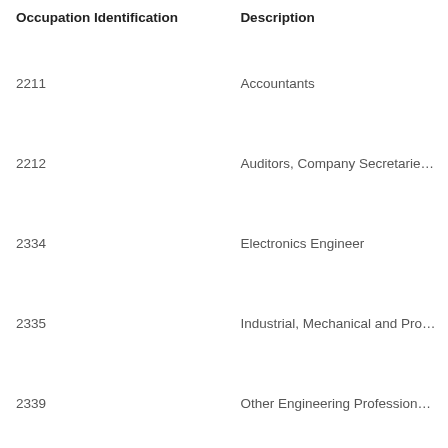| Occupation Identification | Description |
| --- | --- |
| 2211 | Accountants |
| 2212 | Auditors, Company Secretarie… |
| 2334 | Electronics Engineer |
| 2335 | Industrial, Mechanical and Pro… |
| 2339 | Other Engineering Profession… |